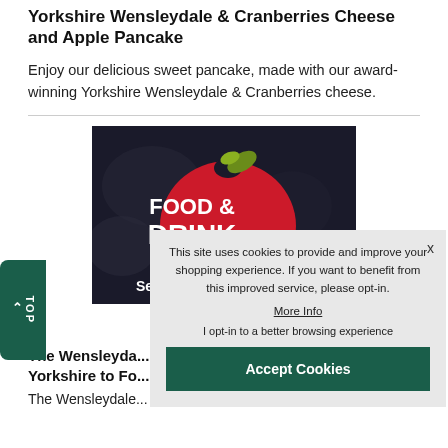Yorkshire Wensleydale & Cranberries Cheese and Apple Pancake
Enjoy our delicious sweet pancake, made with our award-winning Yorkshire Wensleydale & Cranberries cheese.
[Figure (photo): Food & Drink Expo 2018 promotional image with a red apple logo on dark background, text reading FOOD & DRINK EXPO 2018]
The Wensleyda... Yorkshire to Fo...
The Wensleydale...
This site uses cookies to provide and improve your shopping experience. If you want to benefit from this improved service, please opt-in.
More Info
I opt-in to a better browsing experience
Accept Cookies